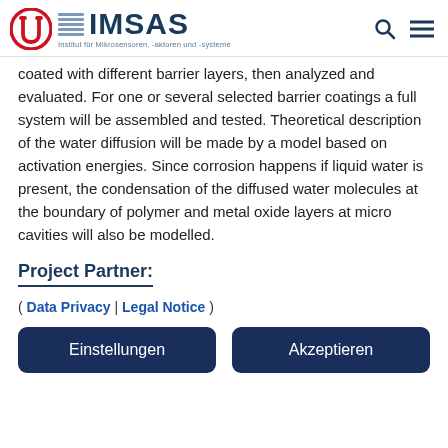IMSAS — Institut für Mikrosensoren, -aktoren und -systeme
coated with different barrier layers, then analyzed and evaluated. For one or several selected barrier coatings a full system will be assembled and tested. Theoretical description of the water diffusion will be made by a model based on activation energies. Since corrosion happens if liquid water is present, the condensation of the diffused water molecules at the boundary of polymer and metal oxide layers at micro cavities will also be modelled.
Project Partner:
( Data Privacy | Legal Notice )
Einstellungen
Akzeptieren